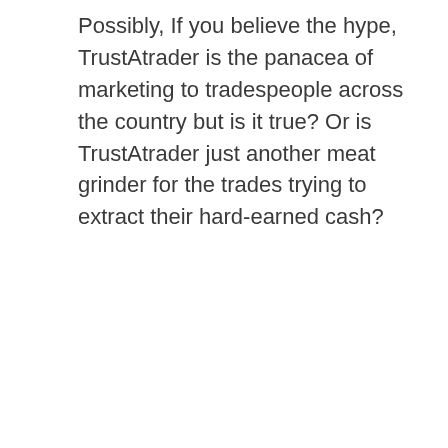Possibly, If you believe the hype, TrustAtrader is the panacea of marketing to tradespeople across the country but is it true? Or is TrustAtrader just another meat grinder for the trades trying to extract their hard-earned cash?